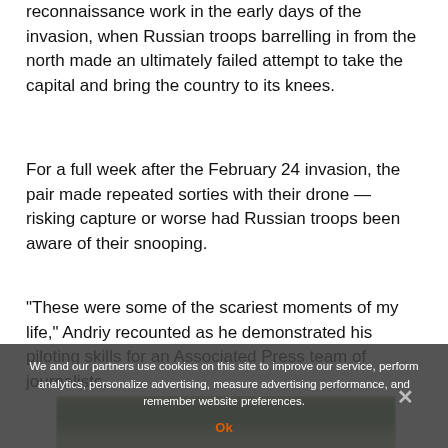reconnaissance work in the early days of the invasion, when Russian troops barrelling in from the north made an ultimately failed attempt to take the capital and bring the country to its knees.
For a full week after the February 24 invasion, the pair made repeated sorties with their drone — risking capture or worse had Russian troops been aware of their snooping.
“These were some of the scariest moments of my life,” Andriy recounted as he demonstrated his piloting skills for an Associated Press team of journalists.
[Figure (photo): Partial view of an outdoor photo showing green foliage, partially visible at the bottom of the page.]
We and our partners use cookies on this site to improve our service, perform analytics, personalize advertising, measure advertising performance, and remember website preferences.
Ok